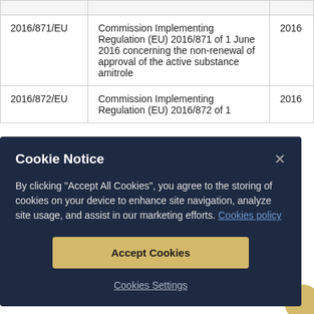|  |  |  |
| --- | --- | --- |
| 2016/871/EU | Commission Implementing Regulation (EU) 2016/871 of 1 June 2016 concerning the non-renewal of approval of the active substance amitrole | 2016 |
| 2016/872/EU | Commission Implementing Regulation (EU) 2016/872 of 1 | 2016 |
[Figure (screenshot): Cookie Notice overlay dialog with dark navy background. Contains title 'Cookie Notice', close button (×), body text explaining cookie usage with a 'Cookies policy' link, an 'Accept Cookies' button in gold/yellow, and a 'Cookies Settings' link. A partial yellow circle is visible at the bottom right.]